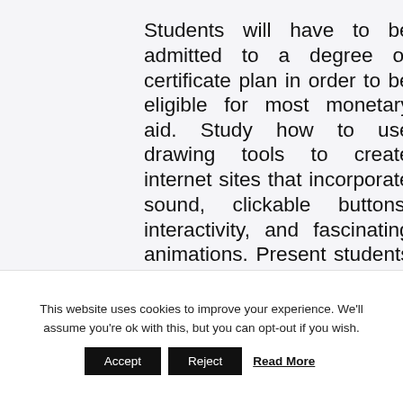Students will have to be admitted to a degree or certificate plan in order to be eligible for most monetary aid. Study how to use drawing tools to create internet sites that incorporate sound, clickable buttons, interactivity, and fascinating animations. Present students register for their courses online by
This website uses cookies to improve your experience. We'll assume you're ok with this, but you can opt-out if you wish.
Accept   Reject   Read More